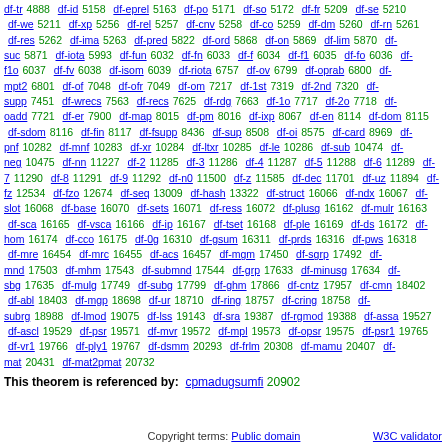df-tr 4888 df-id 5158 df-eprel 5163 df-po 5171 df-so 5172 df-fr 5209 df-se 5210 df-we 5211 df-xp 5256 df-rel 5257 df-cnv 5258 df-co 5259 df-dm 5260 df-rn 5261 df-res 5262 df-ima 5263 df-pred 5822 df-ord 5868 df-on 5869 df-lim 5870 df-suc 5871 df-iota 5993 df-fun 6032 df-fn 6033 df-f 6034 df-f1 6035 df-fo 6036 df-f1o 6037 df-fv 6038 df-isom 6039 df-riota 6757 df-ov 6799 df-oprab 6800 df-mpt2 6801 df-of 7048 df-ofr 7049 df-om 7217 df-1st 7319 df-2nd 7320 df-supp 7451 df-wrecs 7563 df-recs 7625 df-rdg 7663 df-1o 7717 df-2o 7718 df-oadd 7721 df-er 7900 df-map 8015 df-pm 8016 df-ixp 8067 df-en 8114 df-dom 8115 df-sdom 8116 df-fin 8117 df-fsupp 8436 df-sup 8508 df-oi 8575 df-card 8969 df-pnf 10282 df-mnf 10283 df-xr 10284 df-ltxr 10285 df-le 10286 df-sub 10474 df-neg 10475 df-nn 11227 df-2 11285 df-3 11286 df-4 11287 df-5 11288 df-6 11289 df-7 11290 df-8 11291 df-9 11292 df-n0 11500 df-z 11585 df-dec 11701 df-uz 11894 df-fz 12534 df-fzo 12674 df-seq 13009 df-hash 13322 df-struct 16066 df-ndx 16067 df-slot 16068 df-base 16070 df-sets 16071 df-ress 16072 df-plusg 16162 df-mulr 16163 df-sca 16165 df-vsca 16166 df-ip 16167 df-tset 16168 df-ple 16169 df-ds 16172 df-hom 16174 df-cco 16175 df-0g 16310 df-gsum 16311 df-prds 16316 df-pws 16318 df-mre 16454 df-mrc 16455 df-acs 16457 df-mgm 17450 df-sgrp 17492 df-mnd 17503 df-mhm 17543 df-submnd 17544 df-grp 17633 df-minusg 17634 df-sbg 17635 df-mulg 17749 df-subg 17799 df-ghm 17866 df-cntz 17957 df-cmn 18402 df-abl 18403 df-mgp 18698 df-ur 18710 df-ring 18757 df-cring 18758 df-subrg 18988 df-lmod 19075 df-lss 19143 df-sra 19387 df-rgmod 19388 df-assa 19527 df-ascl 19529 df-psr 19571 df-mvr 19572 df-mpl 19573 df-opsr 19575 df-psr1 19765 df-vr1 19766 df-ply1 19767 df-dsmm 20293 df-frlm 20308 df-mamu 20407 df-mat 20431 df-mat2pmat 20732
This theorem is referenced by: cpmadugsumfi 20902
Copyright terms: Public domain   W3C validator